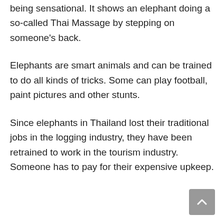being sensational. It shows an elephant doing a so-called Thai Massage by stepping on someone's back.
Elephants are smart animals and can be trained to do all kinds of tricks. Some can play football, paint pictures and other stunts.
Since elephants in Thailand lost their traditional jobs in the logging industry, they have been retrained to work in the tourism industry. Someone has to pay for their expensive upkeep.